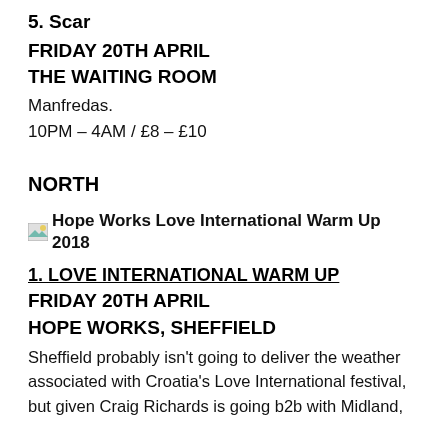5. Scar
FRIDAY 20TH APRIL
THE WAITING ROOM
Manfredas.
10PM – 4AM / £8 – £10
NORTH
[Figure (photo): Hope Works Love International Warm Up 2018 image thumbnail]
1. LOVE INTERNATIONAL WARM UP
FRIDAY 20TH APRIL
HOPE WORKS, SHEFFIELD
Sheffield probably isn't going to deliver the weather associated with Croatia's Love International festival, but given Craig Richards is going b2b with Midland, Wilson's theme and heartthr. Sheffield and then a